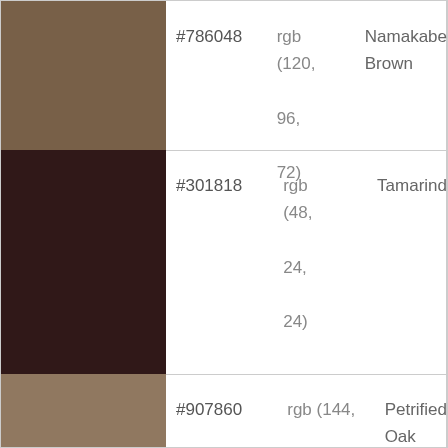[Figure (infographic): Color swatch 1: Namakabe Brown, hex #786048, a tan/khaki brown color]
#786048   rgb (120, 96, 72)   Namakabe Brown
[Figure (infographic): Color swatch 2: Tamarind, hex #301818, a very dark maroon/brown color]
#301818   rgb (48, 24, 24)   Tamarind
[Figure (infographic): Color swatch 3: Petrified Oak, hex #907860, a medium warm brown color]
#907860   rgb (144, 120, 96)   Petrified Oak